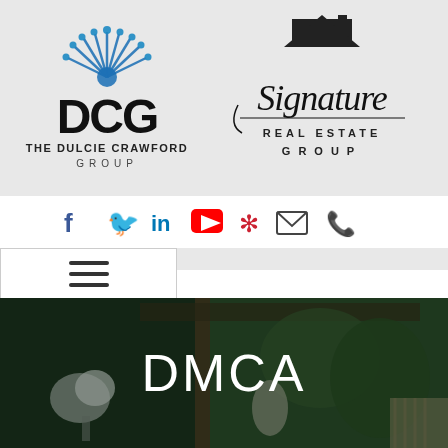[Figure (logo): The Dulcie Crawford Group logo with DCG letters and decorative blue fan/peacock icon above, and text THE DULCIE CRAWFORD GROUP below]
[Figure (logo): Signature Real Estate Group logo with script Signature text and house roof icon, and REAL ESTATE GROUP in caps below]
[Figure (infographic): Social media icons row: Facebook (blue f), Twitter (blue bird), LinkedIn (blue in), YouTube (red play button), Yelp (red burst), Email (envelope), Phone (handset)]
[Figure (infographic): Navigation hamburger menu icon (three horizontal lines) in a white box]
[Figure (photo): Hero image of luxury interior with green plant wall, open glass door, white flowers, and outdoor seating area]
DMCA